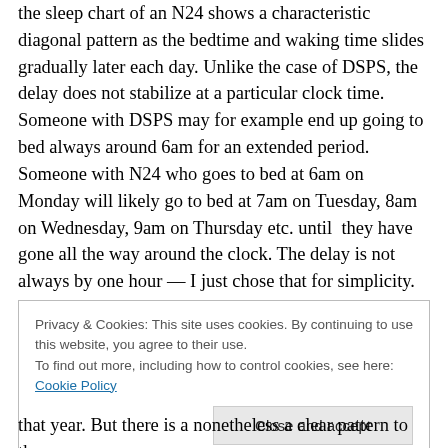the sleep chart of an N24 shows a characteristic diagonal pattern as the bedtime and waking time slides gradually later each day.  Unlike the case of DSPS, the delay does not stabilize at a particular clock time.  Someone with DSPS may for example end up going to bed always around 6am for an extended period.   Someone with N24 who goes to bed at 6am on Monday will likely go to bed at 7am on Tuesday, 8am on Wednesday, 9am on Thursday etc. until  they have gone all the way around the clock.  The delay is not always by one hour — I just chose that for simplicity.  In my case I tended to delay 1.5 hours per day,
Privacy & Cookies: This site uses cookies. By continuing to use this website, you agree to their use.
To find out more, including how to control cookies, see here: Cookie Policy
that year.  But there is a nonetheless a clear pattern to the